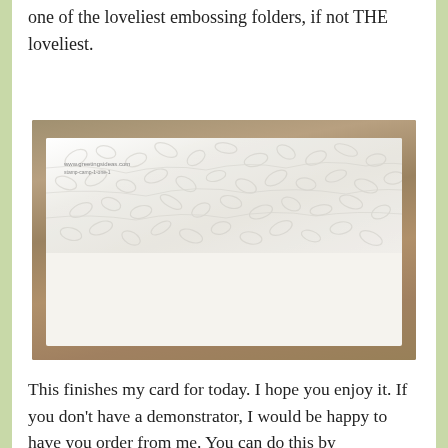one of the loveliest embossing folders, if not THE loveliest.
[Figure (photo): A white card with embossed leaf pattern on the upper portion, placed on a wooden surface background.]
This finishes my card for today. I hope you enjoy it. If you don't have a demonstrator, I would be happy to have you order from me. You can do this by